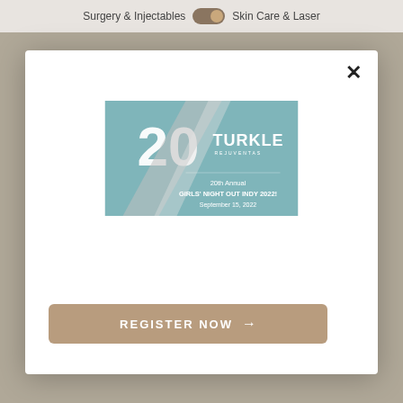Surgery & Injectables   Skin Care & Laser
[Figure (screenshot): Modal dialog popup on a medical spa website showing a '20th Annual GIRLS' NIGHT OUT INDY 2022!' event card with a teal background, large '20' text with silver ribbon decoration, TURKLE branding, and event date September 15, 2022. Below the image is a 'REGISTER NOW →' button in tan/caramel color.]